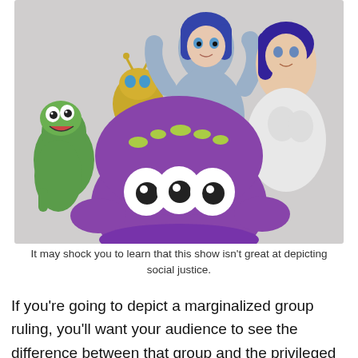[Figure (illustration): A group of animated CGI characters from a show, including a green lizard-like creature on the left, a gold robot/ant-like figure in the center-left, a large purple blob creature with three eyes in the foreground center, a blue-haired humanoid female in the back center, and a woman with brown hair and white outfit on the right. Background is light gray.]
It may shock you to learn that this show isn't great at depicting social justice.
If you're going to depict a marginalized group ruling, you'll want your audience to see the difference between that group and the privileged group. If there is no difference between them, then how can